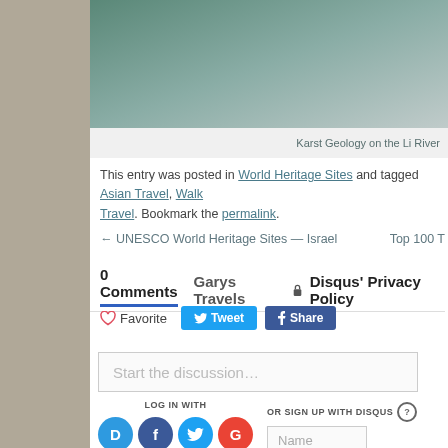[Figure (photo): Top portion of a river/landscape photo, cropped. Background mountain/karst scenery.]
Karst Geology on the Li River
This entry was posted in World Heritage Sites and tagged Asian Travel, Walk Travel. Bookmark the permalink.
← UNESCO World Heritage Sites — Israel    Top 100 T
0 Comments   Garys Travels   🔒 Disqus' Privacy Policy
♡ Favorite   Tweet   Share
Start the discussion…
LOG IN WITH
OR SIGN UP WITH DISQUS ?
Name